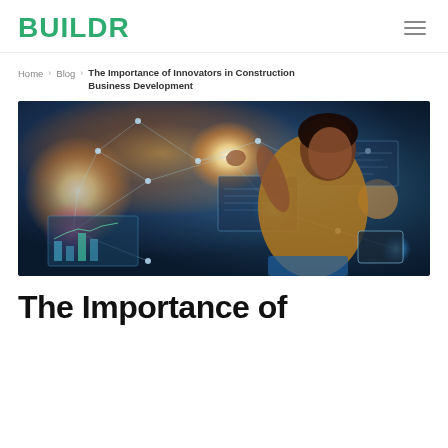BUILDR
Home > Blog > The Importance of Innovators in Construction Business Development
[Figure (photo): A woman in a yellow top interacting with holographic digital interface screens and glowing network nodes, futuristic technology concept]
The Importance of